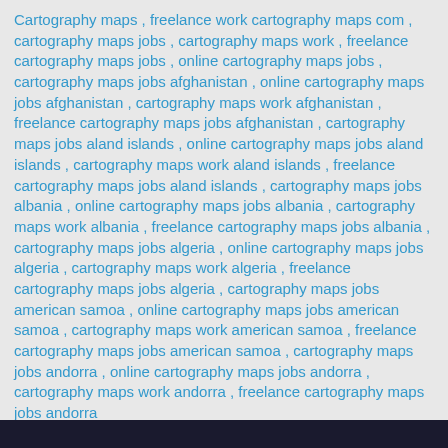Cartography maps , freelance work cartography maps com , cartography maps jobs , cartography maps work , freelance cartography maps jobs , online cartography maps jobs , cartography maps jobs afghanistan , online cartography maps jobs afghanistan , cartography maps work afghanistan , freelance cartography maps jobs afghanistan , cartography maps jobs aland islands , online cartography maps jobs aland islands , cartography maps work aland islands , freelance cartography maps jobs aland islands , cartography maps jobs albania , online cartography maps jobs albania , cartography maps work albania , freelance cartography maps jobs albania , cartography maps jobs algeria , online cartography maps jobs algeria , cartography maps work algeria , freelance cartography maps jobs algeria , cartography maps jobs american samoa , online cartography maps jobs american samoa , cartography maps work american samoa , freelance cartography maps jobs american samoa , cartography maps jobs andorra , online cartography maps jobs andorra , cartography maps work andorra , freelance cartography maps jobs andorra